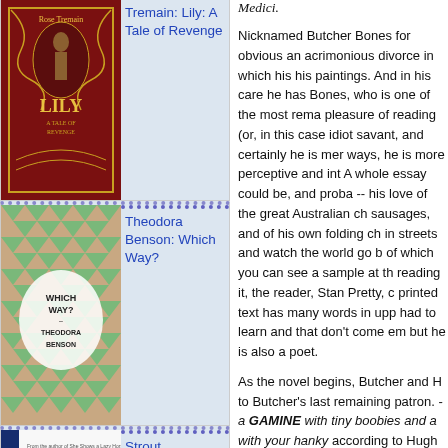[Figure (photo): Book cover of Rose Tremain: Lily: A Tale of Revenge, dark red with decorative gold scroll design]
Tremain: Lily: A Tale of Revenge
[Figure (photo): Book cover of Theodora Benson: Which Way? Pink and green geometric triangle pattern with white cloud shapes]
Theodora Benson: Which Way?
[Figure (photo): Book cover of Elizabeth Strout: Oh William! White cover with blue spine and city skyline illustration]
Strout, Elizabeth: Oh William!
Medici.
Nicknamed Butcher Bones for obvious an acrimonious divorce in which his his paintings. And in his care he has Bones, who is one of the most rema pleasure of reading (or, in this case idiot savant, and certainly he is mer ways, he is more perceptive and int A whole essay could be, and proba -- his love of the great Australian ch sausages, and of his own folding ch in streets and watch the world go b of which you can see a sample at th reading it, the reader, Stan Pretty, c printed text has many words in upp had to learn and that don't come em but he is also a poet.
As the novel begins, Butcher and H to Butcher's last remaining patron. - a GAMINE with tiny boobies and a with your hanky according to Hugh husband's father was a hugely cele painting by Jacques Leibovitz which neighbours. But soon afterwards, th